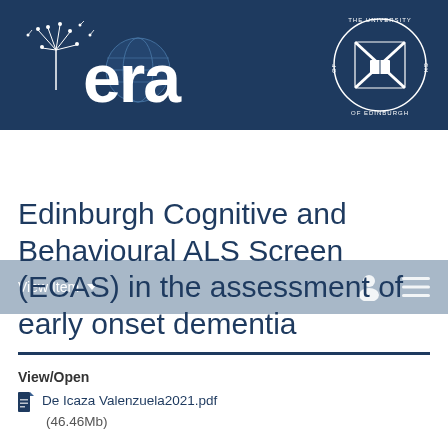[Figure (logo): ERA repository logo with dandelion graphic and globe, white text on dark navy background, alongside University of Edinburgh crest logo]
View Item ▾
Edinburgh Cognitive and Behavioural ALS Screen (ECAS) in the assessment of early onset dementia
View/Open
De Icaza Valenzuela2021.pdf (46.46Mb)